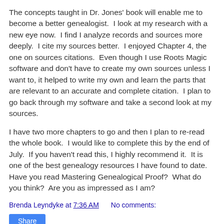The concepts taught in Dr. Jones' book will enable me to become a better genealogist.  I look at my research with a new eye now.  I find I analyze records and sources more deeply.  I cite my sources better.  I enjoyed Chapter 4, the one on sources citations.  Even though I use Roots Magic software and don't have to create my own sources unless I want to, it helped to write my own and learn the parts that are relevant to an accurate and complete citation.  I plan to go back through my software and take a second look at my sources.
I have two more chapters to go and then I plan to re-read the whole book.  I would like to complete this by the end of July.  If you haven't read this, I highly recommend it.  It is one of the best genealogy resources I have found to date.  Have you read Mastering Genealogical Proof?  What do you think?  Are you as impressed as I am?
Brenda Leyndyke at 7:36 AM    No comments:
Share